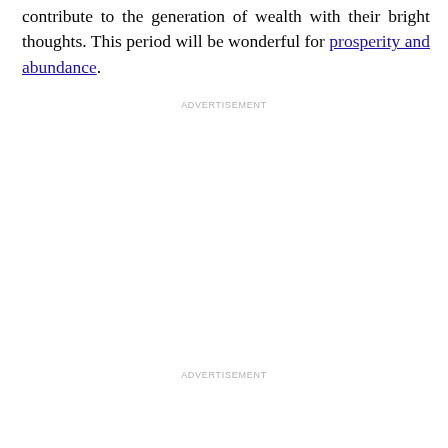contribute to the generation of wealth with their bright thoughts. This period will be wonderful for prosperity and abundance.
ADVERTISEMENT
ADVERTISEMENT